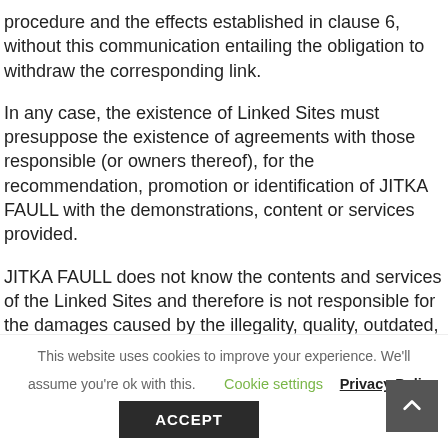procedure and the effects established in clause 6, without this communication entailing the obligation to withdraw the corresponding link.
In any case, the existence of Linked Sites must presuppose the existence of agreements with those responsible (or owners thereof), for the recommendation, promotion or identification of JITKA FAULL with the demonstrations, content or services provided.
JITKA FAULL does not know the contents and services of the Linked Sites and therefore is not responsible for the damages caused by the illegality, quality, outdated, unavailability, error and uselessness of the contents and / or services of the Linked Sites or
This website uses cookies to improve your experience. We'll assume you're ok with this.  Cookie settings  Privacy Policy
ACCEPT